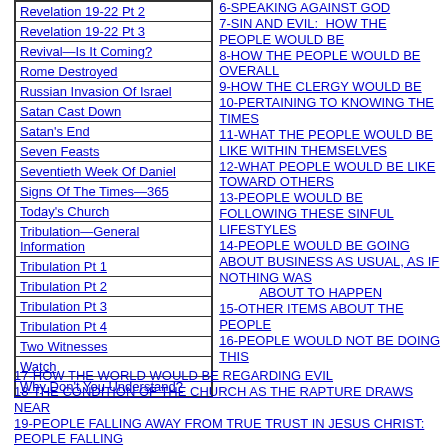Revelation 19-22 Pt 2
Revelation 19-22 Pt 3
Revival—Is It Coming?
Rome Destroyed
Russian Invasion Of Israel
Satan Cast Down
Satan's End
Seven Feasts
Seventieth Week Of Daniel
Signs Of The Times—365
Today's Church
Tribulation—General Information
Tribulation Pt 1
Tribulation Pt 2
Tribulation Pt 3
Tribulation Pt 4
Two Witnesses
Watch
Why Don't You Understand?
6-SPEAKING AGAINST GOD
7-SIN AND EVIL: HOW THE PEOPLE WOULD BE
8-HOW THE PEOPLE WOULD BE OVERALL
9-HOW THE CLERGY WOULD BE
10-PERTAINING TO KNOWING THE TIMES
11-WHAT THE PEOPLE WOULD BE LIKE WITHIN THEMSELVES
12-WHAT PEOPLE WOULD BE LIKE TOWARD OTHERS
13-PEOPLE WOULD BE FOLLOWING THESE SINFUL LIFESTYLES
14-PEOPLE WOULD BE GOING ABOUT BUSINESS AS USUAL, AS IF NOTHING WAS ABOUT TO HAPPEN
15-OTHER ITEMS ABOUT THE PEOPLE
16-PEOPLE WOULD NOT BE DOING THIS
17-HOW THE WORLD WOULD BE REGARDING EVIL
18-THE CONDITION OF THE CHURCH AS THE RAPTURE DRAWS NEAR
19-PEOPLE FALLING AWAY FROM TRUE TRUST IN JESUS CHRIST: PEOPLE FALLING AWAY FROM THE TRUTH
20-COMMENTARY—2ND THES 2
21-REVIVAL NOT COMING DURING THE LAODICEAN CHURCH AGE